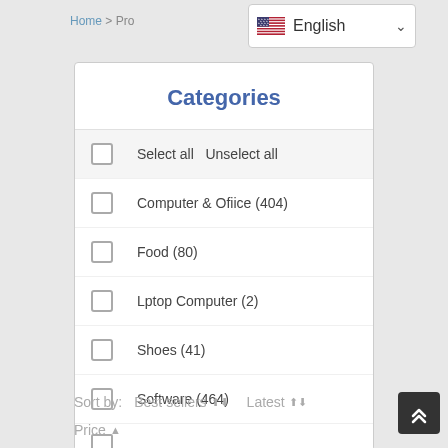Home > Pro
[Figure (screenshot): English language selector dropdown with US flag]
Categories
Select all   Unselect all
Computer & Office (404)
Food (80)
Lptop Computer (2)
Shoes (41)
Software (464)
Sort by:   Best sellers ▲▼   Latest ▲▼
Price ▲